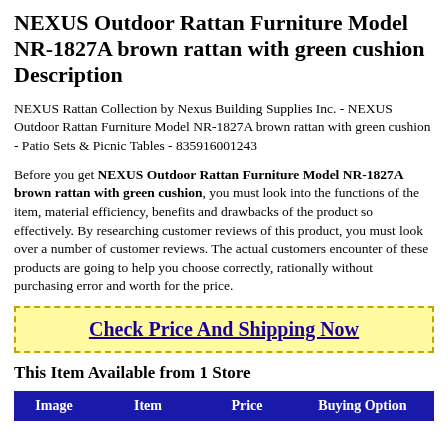NEXUS Outdoor Rattan Furniture Model NR-1827A brown rattan with green cushion Description
NEXUS Rattan Collection by Nexus Building Supplies Inc. - NEXUS Outdoor Rattan Furniture Model NR-1827A brown rattan with green cushion - Patio Sets & Picnic Tables - 835916001243
Before you get NEXUS Outdoor Rattan Furniture Model NR-1827A brown rattan with green cushion, you must look into the functions of the item, material efficiency, benefits and drawbacks of the product so effectively. By researching customer reviews of this product, you must look over a number of customer reviews. The actual customers encounter of these products are going to help you choose correctly, rationally without purchasing error and worth for the price.
Check Price And Shipping Now
This Item Available from 1 Store
| Image | Item | Price | Buying Option |
| --- | --- | --- | --- |